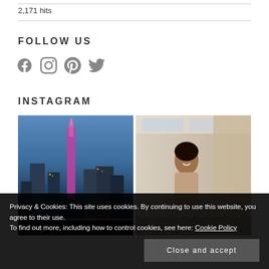2,171 hits
FOLLOW US
[Figure (infographic): Social media icons: Facebook, Instagram, Pinterest, Twitter]
INSTAGRAM
[Figure (photo): Instagram photo grid: city skyline at night with illuminated buildings, and interior photo with a person]
Privacy & Cookies: This site uses cookies. By continuing to use this website, you agree to their use. To find out more, including how to control cookies, see here: Cookie Policy
Close and accept